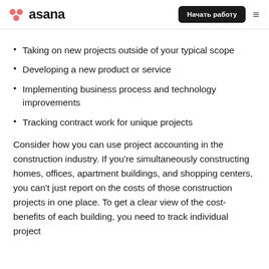asana | Начать работу
Taking on new projects outside of your typical scope
Developing a new product or service
Implementing business process and technology improvements
Tracking contract work for unique projects
Consider how you can use project accounting in the construction industry. If you’re simultaneously constructing homes, offices, apartment buildings, and shopping centers, you can’t just report on the costs of those construction projects in one place. To get a clear view of the cost-benefits of each building, you need to track individual project